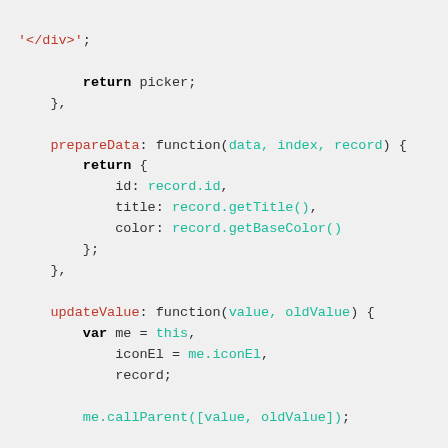Code snippet showing prepareData and updateValue JavaScript functions